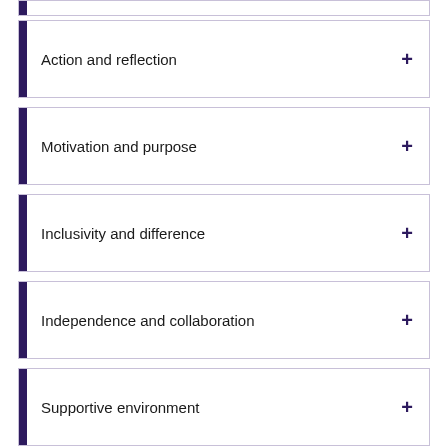Action and reflection
Motivation and purpose
Inclusivity and difference
Independence and collaboration
Supportive environment